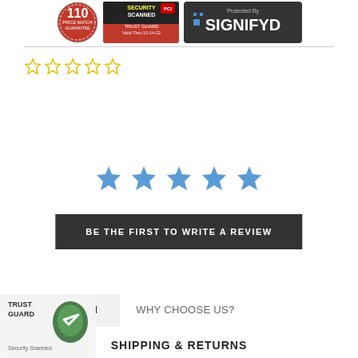[Figure (logo): Three trust/security badge logos: 110% Price Match Guarantee seal, Trust Guard Security Scanned PCI badge valid 10-14-22, and Signifyd Protected By logo]
[Figure (other): Five empty yellow star outline icons for product rating]
[Figure (other): Five large blue filled star icons for review prompt]
BE THE FIRST TO WRITE A REVIEW
DESCRIPTION
WHY CHOOSE US?
[Figure (logo): Trust Guard Security Scanned badge logo in bottom left corner]
SHIPPING & RETURNS